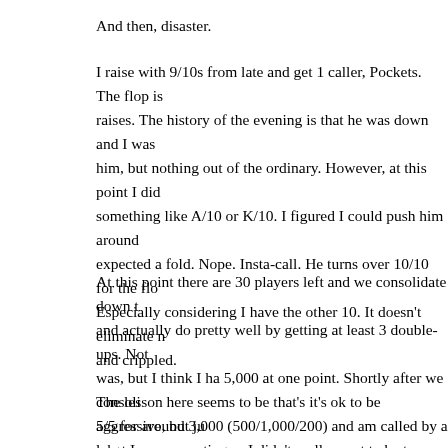And then, disaster.
I raise with 9/10s from late and get 1 caller, Pockets. The flop is raises. The history of the evening is that he was down and I was him, but nothing out of the ordinary. However, at this point I did something like A/10 or K/10. I figured I could push him around expected a fold. Nope. Insta-call. He turns over 10/10 for the flo Especially considering I have the other 10. It doesn't eliminate n and crippled.
At this point there are 30 players left and we consolidate down t and actually do pretty well by getting at least 3 double-ups. Not was, but I think I ha 5,000 at one point. Shortly after we consoli 5/5 for around 3,000 (500/1,000/200) and am called by a large s his cards on the flop and it's good night in 19th place. Not bad f
The lesson here seems to be that's it's ok to be aggressive, but ju what I was expecting as I didn't really want to be too careful. I g enough.